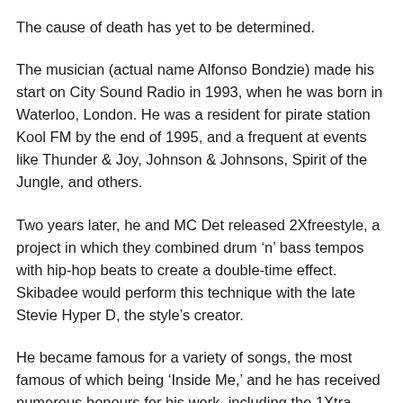The cause of death has yet to be determined.
The musician (actual name Alfonso Bondzie) made his start on City Sound Radio in 1993, when he was born in Waterloo, London. He was a resident for pirate station Kool FM by the end of 1995, and a frequent at events like Thunder & Joy, Johnson & Johnsons, Spirit of the Jungle, and others.
Two years later, he and MC Det released 2Xfreestyle, a project in which they combined drum ‘n’ bass tempos with hip-hop beats to create a double-time effect. Skibadee would perform this technique with the late Stevie Hyper D, the style’s creator.
He became famous for a variety of songs, the most famous of which being ‘Inside Me,’ and he has received numerous honours for his work, including the 1Xtra award for Best MC in 2006 and the Stevie Hyper D Memorial Award For Lifetime